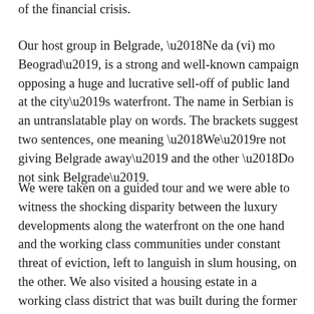of the financial crisis.
Our host group in Belgrade, ‘Ne da (vi) mo Beograd’, is a strong and well-known campaign opposing a huge and lucrative sell-off of public land at the city’s waterfront. The name in Serbian is an untranslatable play on words. The brackets suggest two sentences, one meaning ‘We’re not giving Belgrade away’ and the other ‘Do not sink Belgrade’.
We were taken on a guided tour and we were able to witness the shocking disparity between the luxury developments along the waterfront on the one hand and the working class communities under constant threat of eviction, left to languish in slum housing, on the other. We also visited a housing estate in a working class district that was built during the former socialist Yugoslavia era. Here we were introduced to older citizens and families living in a housing complex that was originally socially-owned housing, but is now in private hands. This is due to a series of catastrophic